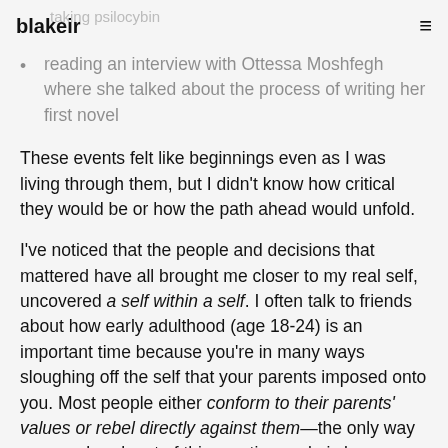blakeir | taking psilocybin
reading an interview with Ottessa Moshfegh where she talked about the process of writing her first novel
These events felt like beginnings even as I was living through them, but I didn't know how critical they would be or how the path ahead would unfold.
I've noticed that the people and decisions that mattered have all brought me closer to my real self, uncovered a self within a self. I often talk to friends about how early adulthood (age 18-24) is an important time because you're in many ways sloughing off the self that your parents imposed onto you. Most people either conform to their parents' values or rebel directly against them—the only way you can break out of this reactive cycle is by becoming self-aware enough to find the part of you that has always been there, the nature buried